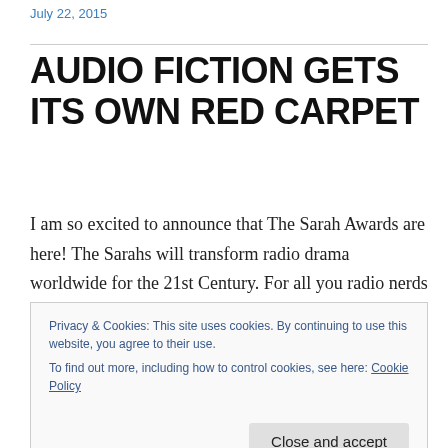July 22, 2015
AUDIO FICTION GETS ITS OWN RED CARPET
I am so excited to announce that The Sarah Awards are here! The Sarahs will transform radio drama worldwide for the 21st Century. For all you radio nerds this is an opportunity to break the rules and create your finest, most innovative audio works. But the awards are also a spark
Privacy & Cookies: This site uses cookies. By continuing to use this website, you agree to their use.
To find out more, including how to control cookies, see here: Cookie Policy

Close and accept